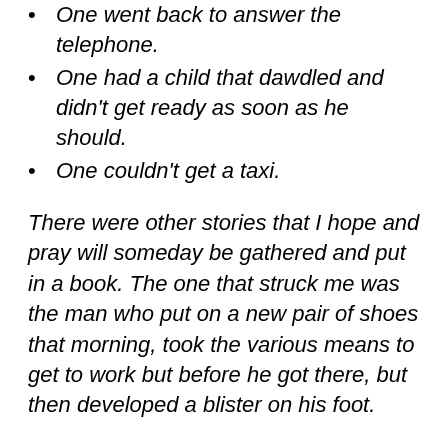One went back to answer the telephone.
One had a child that dawdled and didn't get ready as soon as he should.
One couldn't get a taxi.
There were other stories that I hope and pray will someday be gathered and put in a book. The one that struck me was the man who put on a new pair of shoes that morning, took the various means to get to work but before he got there, but then developed a blister on his foot.